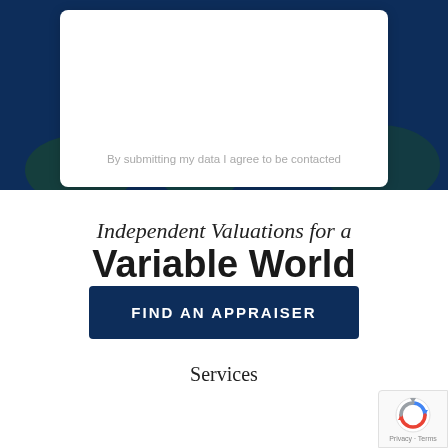[Figure (screenshot): Dark navy blue background with a scenic house/trees image overlay (partially visible). A white rounded card/form box sits on top with placeholder content area.]
By submitting my data I agree to be contacted
Independent Valuations for a Variable World
FIND AN APPRAISER
Services
[Figure (logo): reCAPTCHA badge with spinning circle icon and Privacy · Terms text]